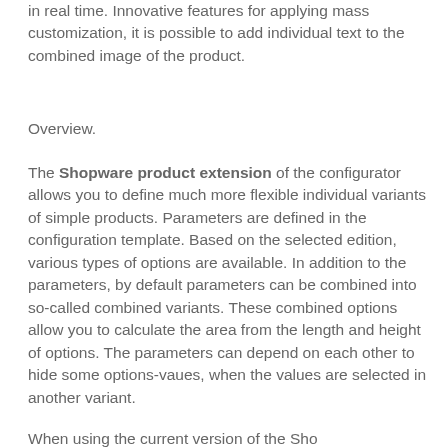in real time. Innovative features for applying mass customization, it is possible to add individual text to the combined image of the product.
Overview.
The Shopware product extension of the configurator allows you to define much more flexible individual variants of simple products. Parameters are defined in the configuration template. Based on the selected edition, various types of options are available. In addition to the parameters, by default parameters can be combined into so-called combined variants. These combined options allow you to calculate the area from the length and height of options. The parameters can depend on each other to hide some options-vaues, when the values are selected in another variant.
When using the current version of the Sho...